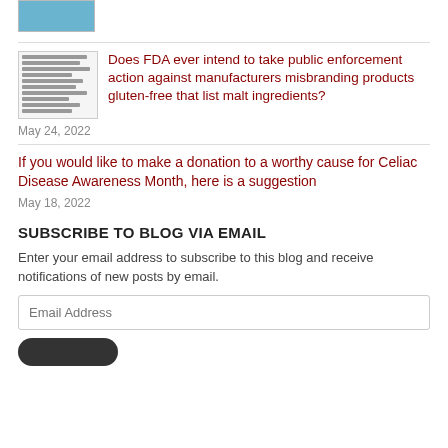[Figure (photo): Partial thumbnail image visible at top]
Does FDA ever intend to take public enforcement action against manufacturers misbranding products gluten-free that list malt ingredients?
May 24, 2022
If you would like to make a donation to a worthy cause for Celiac Disease Awareness Month, here is a suggestion
May 18, 2022
SUBSCRIBE TO BLOG VIA EMAIL
Enter your email address to subscribe to this blog and receive notifications of new posts by email.
Email Address